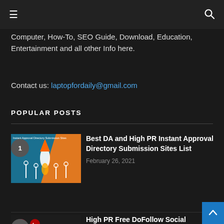☰   🔍
Computer, How-To, SEO Guide, Download, Education, Entertainment and all other Info here.
Contact us: laptopfordaily@gmail.com
POPULAR POSTS
[Figure (illustration): Thumbnail image for 'Best DA and High PR Instant Approval Directory Submission Sites List' showing a rocket launch graphic on orange/teal background.]
Best DA and High PR Instant Approval Directory Submission Sites List
February 26, 2021
[Figure (illustration): Thumbnail image for 'High PR Free DoFollow Social Bookmarking Sites List 2020 Updated' showing social media icons with a megaphone.]
High PR Free DoFollow Social Bookmarking Sites List 2020 Updated